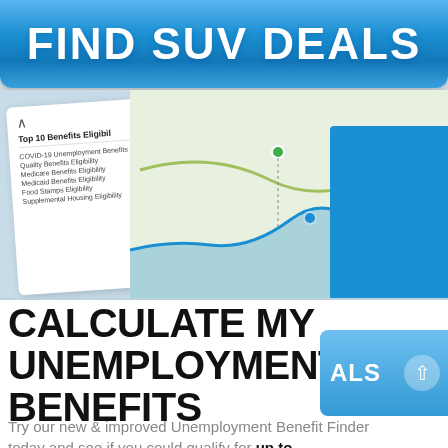FIND SUV DEALS
[Figure (screenshot): Screenshot of a benefits eligibility tool showing a card listing Top 10 Benefits Eligibility items including COVID-19 Unemployment Benefits, Quality Benefits Eligibility, Medicare Benefits Eligibility, Medicaid Benefits Eligibility, Food Stamps Eligibility, Supplemental Housing Eligibility with percentage values, overlaid on a map with green and blue line chart and a blue rectangular block]
CALCULATE MY UNEMPLOYMENT BENEFITS
Try our new & improved Unemployment Benefit Finder today and see if you could qualify for up to $3,345/month in
[Figure (other): Blue button with text ALS and an upward arrow circle icon]